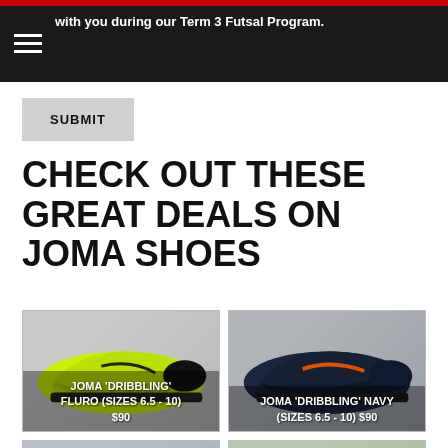with you during our Term 3 Futsal Program.
SUBMIT
CHECK OUT THESE GREAT DEALS ON JOMA SHOES
[Figure (photo): Joma Dribbling Fluro shoe (yellow-green), sizes 6.5-10, $90]
JOMA 'DRIBBLING' FLURO (SIZES 6.5 - 10) $90
[Figure (photo): Joma Dribbling Navy shoe, sizes 6.5-10, $90]
JOMA 'DRIBBLING' NAVY (SIZES 6.5 - 10) $90
[Figure (photo): Joma Top Flex shoe (blue/orange)]
JOMA 'TOP FLEX
[Figure (photo): Joma Top Flex shoe (green/black)]
JOMA 'TOP FLEX